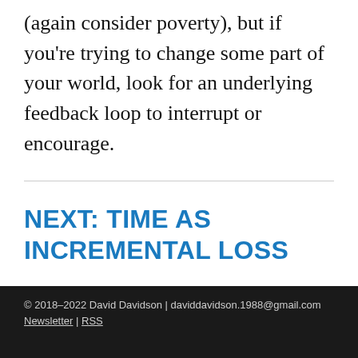(again consider poverty), but if you're trying to change some part of your world, look for an underlying feedback loop to interrupt or encourage.
NEXT: TIME AS INCREMENTAL LOSS
© 2018–2022 David Davidson | daviddavidson.1988@gmail.com Newsletter | RSS